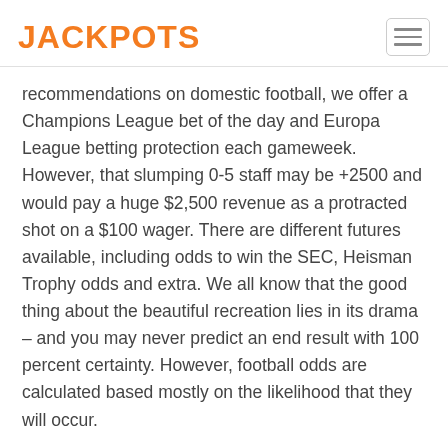JACKPOTS
recommendations on domestic football, we offer a Champions League bet of the day and Europa League betting protection each gameweek. However, that slumping 0-5 staff may be +2500 and would pay a huge $2,500 revenue as a protracted shot on a $100 wager. There are different futures available, including odds to win the SEC, Heisman Trophy odds and extra. We all know that the good thing about the beautiful recreation lies in its drama – and you may never predict an end result with 100 percent certainty. However, football odds are calculated based mostly on the likelihood that they will occur.
It reveals every group with a (+) or (-) handicap, generally known as the 'line'. You win a degree spread